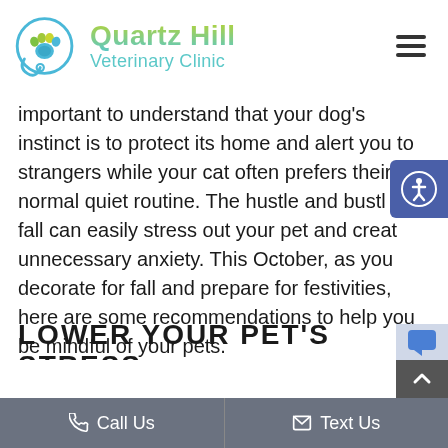[Figure (logo): Quartz Hill Veterinary Clinic logo with a circular design featuring a paw print and stethoscope in blue, with gradient green-to-teal text for the clinic name]
important to understand that your dog's instinct is to protect its home and alert you to strangers while your cat often prefers their normal quiet routine. The hustle and bustle of fall can easily stress out your pet and create unnecessary anxiety. This October, as you decorate for fall and prepare for festivities, here are some recommendations to help you be mindful of your pets.
LOWER YOUR PET'S STRESS
Call Us   Text Us